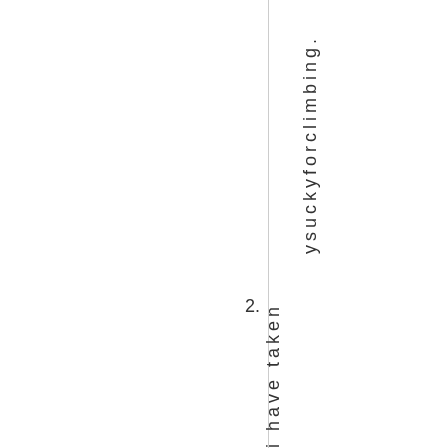ysuckyforclimbing.
2. i have taken